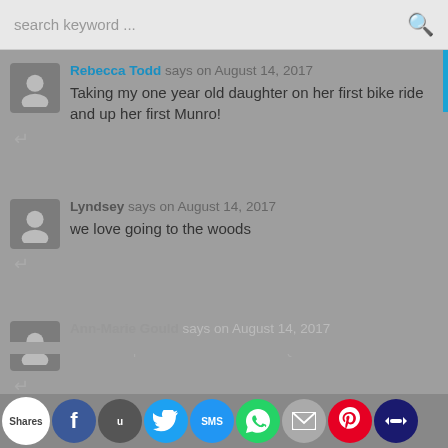search keyword ...
Rebecca Todd says on August 14, 2017
Taking my one year old daughter on her first bike ride and up her first Munro!
Lyndsey says on August 14, 2017
we love going to the woods
Ann-Marie Gould says on August 14, 2017
we love a picnic on the hills of the Quantocks in Somerset
Keith Hunt says on August 14, 2017
A picnic at the sidmouth donkey sanctuary
[Figure (screenshot): Swipe left/right for previous/next post overlay with left and right arrows on white card]
Shares